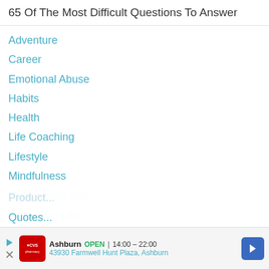65 Of The Most Difficult Questions To Answer
Adventure
Career
Emotional Abuse
Habits
Health
Life Coaching
Lifestyle
Mindfulness
Overcoming fear
Passion in Life
Personality Types
Product Reviews
Product...
Quotes...